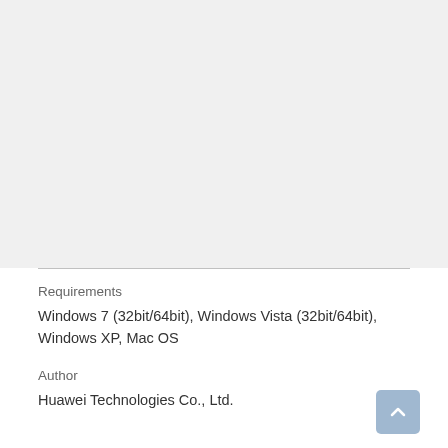Requirements
Windows 7 (32bit/64bit), Windows Vista (32bit/64bit), Windows XP, Mac OS
Author
Huawei Technologies Co., Ltd.